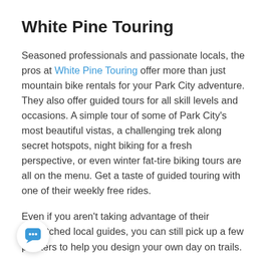White Pine Touring
Seasoned professionals and passionate locals, the pros at White Pine Touring offer more than just mountain bike rentals for your Park City adventure. They also offer guided tours for all skill levels and occasions. A simple tour of some of Park City's most beautiful vistas, a challenging trek along secret hotspots, night biking for a fresh perspective, or even winter fat-tire biking tours are all on the menu. Get a taste of guided touring with one of their weekly free rides.
Even if you aren't taking advantage of their unmatched local guides, you can still pick up a few pointers to help you design your own day on trails.